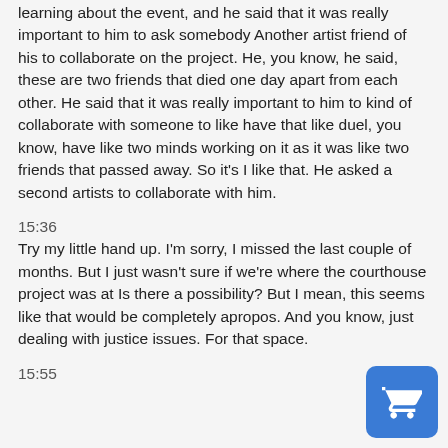learning about the event, and he said that it was really important to him to ask somebody Another artist friend of his to collaborate on the project. He, you know, he said, these are two friends that died one day apart from each other. He said that it was really important to him to kind of collaborate with someone to like have that like duel, you know, have like two minds working on it as it was like two friends that passed away. So it's I like that. He asked a second artists to collaborate with him.
15:36
Try my little hand up. I'm sorry, I missed the last couple of months. But I just wasn't sure if we're where the courthouse project was at Is there a possibility? But I mean, this seems like that would be completely apropos. And you know, just dealing with justice issues. For that space.
15:55